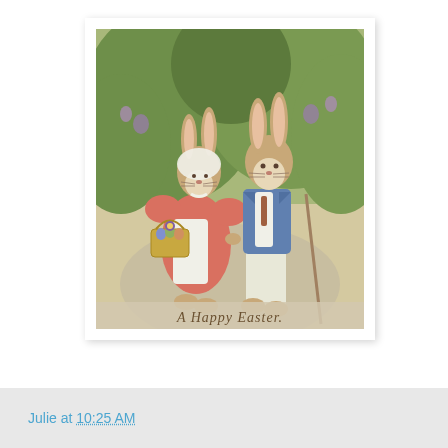[Figure (illustration): Vintage Easter postcard illustration showing two anthropomorphic rabbits dressed in Victorian clothing. A female rabbit in a pink dress with white apron holds a basket of Easter eggs. A male rabbit in a blue jacket and white trousers stands beside her. Green foliage in the background. Text at the bottom reads 'A Happy Easter.' in stylized script.]
Julie at 10:25 AM